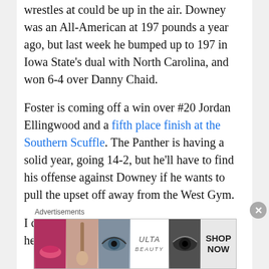wrestles at could be up in the air. Downey was an All-American at 197 pounds a year ago, but last week he bumped up to 197 in Iowa State's dual with North Carolina, and won 6-4 over Danny Chaid.
Foster is coming off a win over #20 Jordan Ellingwood and a fifth place finish at the Southern Scuffle. The Panther is having a solid year, going 14-2, but he'll have to find his offense against Downey if he wants to pull the upset off away from the West Gym.
I can see the dual coming down to heavyweight, and as long as he's healthy, I...
Advertisements
[Figure (other): Ulta Beauty advertisement banner with cosmetics imagery showing lips, makeup brush, eye, Ulta logo, eye close-up, and SHOP NOW text]